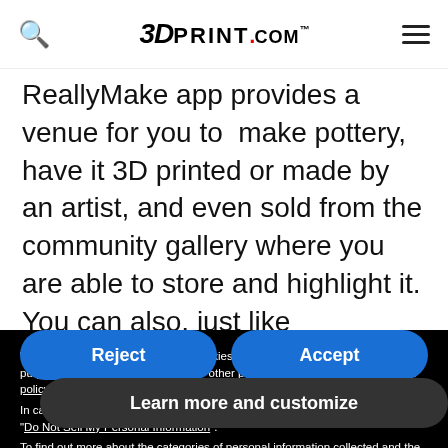3DPrint.com
ReallyMake app provides a venue for you to “make pottery, have it 3D printed or made by an artist, and even sold from the community gallery where you are able to store and highlight it. You can also, just like with its own artist, browse it and create f[...]
We and selected third parties use cookies or similar technologies for technical purposes and, with your consent, for other purposes as specified in the cookie policy. Denying consent may make related features unavailable.
In case of sale of your personal information, you may opt out by using the link “Do Not Sell My Personal Information”.
To find out more about the categories of personal information collected and the purposes for which such information will be used, please refer to our privacy policy. You can consent to the use of such technologies by using the “Accept” button, by scrolling this page, by interacting with any link or button outside of this notice or by continuing to browse otherwise.
Reject
Accept
Learn more and customize